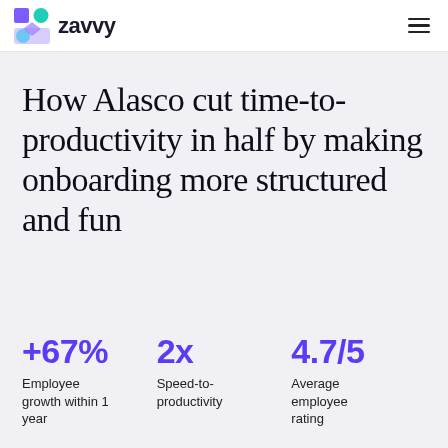zavvy
How Alasco cut time-to-productivity in half by making onboarding more structured and fun
+67% Employee growth within 1 year
2x Speed-to-productivity
4.7/5 Average employee rating